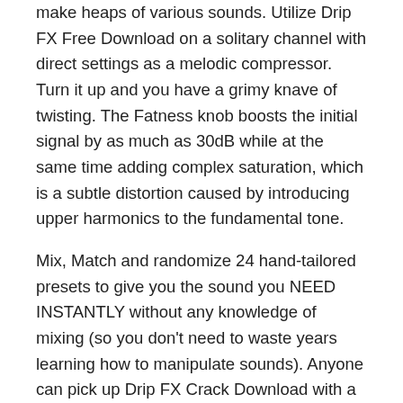make heaps of various sounds. Utilize Drip FX Free Download on a solitary channel with direct settings as a melodic compressor. Turn it up and you have a grimy knave of twisting. The Fatness knob boosts the initial signal by as much as 30dB while at the same time adding complex saturation, which is a subtle distortion caused by introducing upper harmonics to the fundamental tone.
Mix, Match and randomize 24 hand-tailored presets to give you the sound you NEED INSTANTLY without any knowledge of mixing (so you don't need to waste years learning how to manipulate sounds). Anyone can pick up Drip FX Crack Download with a simple user interface and use it to its full capabilities... But don't worry, every knob can be customized to get the PERFECT sound you desire!